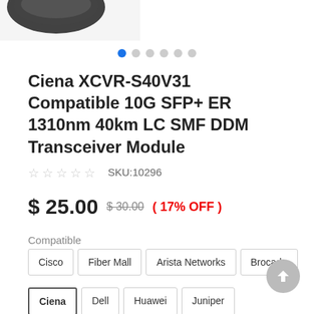[Figure (photo): Partial product photo (top-left corner) of a transceiver module on white background]
[Figure (other): Dot navigation indicators: 6 dots, first one filled blue, rest grey]
Ciena XCVR-S40V31 Compatible 10G SFP+ ER 1310nm 40km LC SMF DDM Transceiver Module
SKU:10296
$ 25.00  $30.00  ( 17% OFF )
Compatible
Cisco  Fiber Mall  Arista Networks  Brocade  Ciena  Dell  Huawei  Juniper